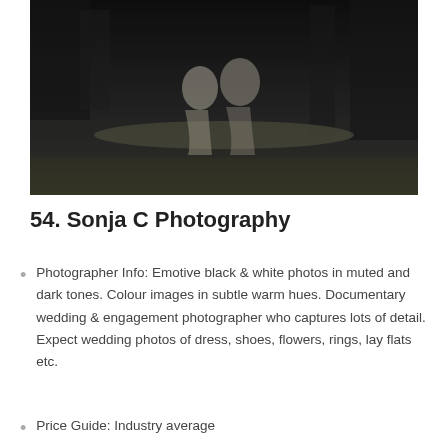[Figure (photo): Black and white photo of a couple sitting on a log in a natural outdoor setting with trees in the background. Moody, dark tones.]
54. Sonja C Photography
Photographer Info: Emotive black & white photos in muted and dark tones. Colour images in subtle warm hues. Documentary wedding & engagement photographer who captures lots of detail. Expect wedding photos of dress, shoes, flowers, rings, lay flats etc.
Price Guide: Industry average